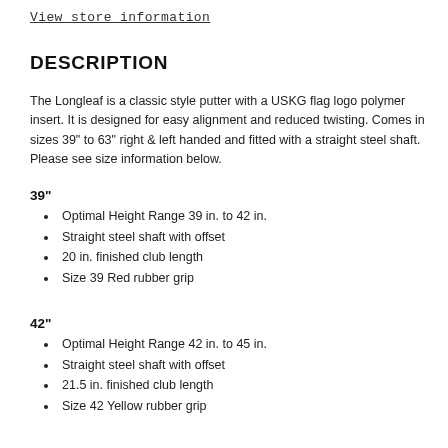View store information
DESCRIPTION
The Longleaf is a classic style putter with a USKG flag logo polymer insert. It is designed for easy alignment and reduced twisting. Comes in sizes 39" to 63" right & left handed and fitted with a straight steel shaft. Please see size information below.
39"
Optimal Height Range 39 in. to 42 in.
Straight steel shaft with offset
20 in. finished club length
Size 39 Red rubber grip
42"
Optimal Height Range 42 in. to 45 in.
Straight steel shaft with offset
21.5 in. finished club length
Size 42 Yellow rubber grip